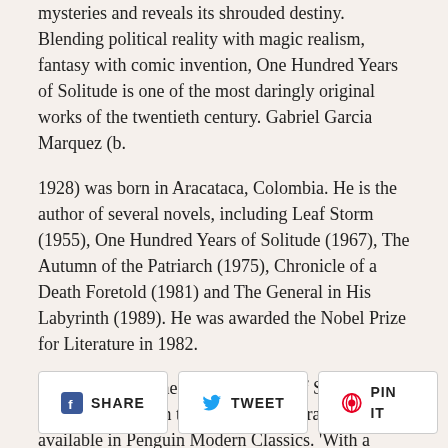mysteries and reveals its shrouded destiny. Blending political reality with magic realism, fantasy with comic invention, One Hundred Years of Solitude is one of the most daringly original works of the twentieth century. Gabriel Garcia Marquez (b.
1928) was born in Aracataca, Colombia. He is the author of several novels, including Leaf Storm (1955), One Hundred Years of Solitude (1967), The Autumn of the Patriarch (1975), Chronicle of a Death Foretold (1981) and The General in His Labyrinth (1989). He was awarded the Nobel Prize for Literature in 1982.
If you enjoyed One Hundred Years of Solitude, you might like Love in the Time of Cholera, also available in Penguin Modern Classics. 'With a single bound Gabriel Garcia Marquez leaps on the stage with Gunter Grass and Vladimir Nabokov ... dazzling'The New York Times
[Figure (other): Social sharing buttons: SHARE (Facebook), TWEET (Twitter), PIN IT (Pinterest)]